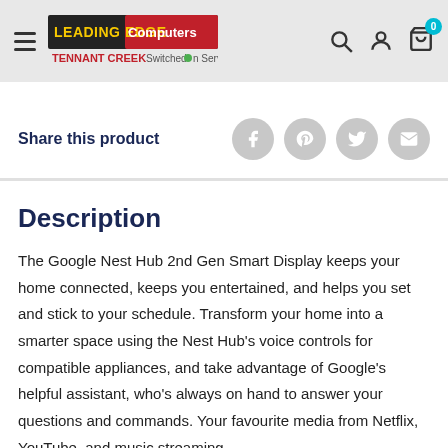Leading Edge Computers – Tennant Creek – Switched On Service
Share this product
Description
The Google Nest Hub 2nd Gen Smart Display keeps your home connected, keeps you entertained, and helps you set and stick to your schedule. Transform your home into a smarter space using the Nest Hub's voice controls for compatible appliances, and take advantage of Google's helpful assistant, who's always on hand to answer your questions and commands. Your favourite media from Netflix, YouTube, and music streaming